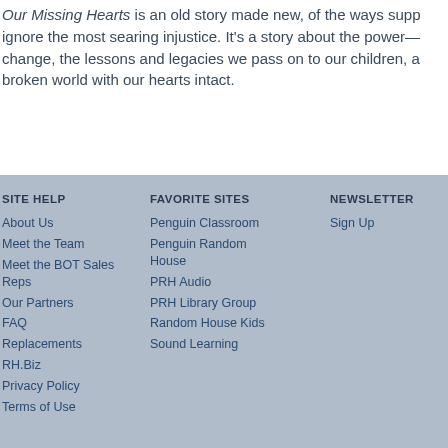Our Missing Hearts is an old story made new, of the ways suppose ignore the most searing injustice. It's a story about the power— change, the lessons and legacies we pass on to our children, and broken world with our hearts intact.
SITE HELP
About Us
Meet the Team
Meet the BOT Sales Reps
Our Partners
FAQ
Replacements
RH.Biz
Privacy Policy
Terms of Use
FAVORITE SITES
Penguin Classroom
Penguin Random House
PRH Audio
PRH Library Group
Random House Kids
Sound Learning
NEWSLETTER
Sign Up